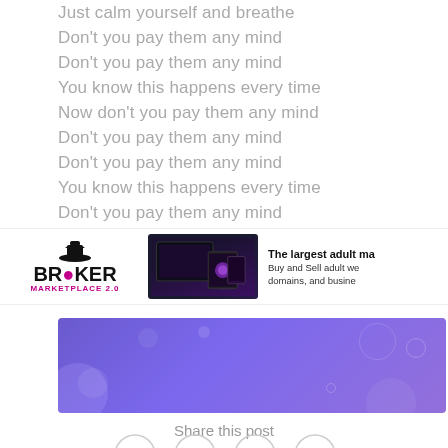Just calm yourself and breathe
Don't you pay them any mind
Don't you pay them any mind
You know this happens every time
Now don't you pay them any mind
Don't you pay them any mind
Don't you pay them any mind
You know this happens every time
Don't you pay them any mind
[Figure (screenshot): Broker Marketplace 2.0 advertisement banner with logo and device mockup]
[Figure (illustration): Purple gradient banner with circular bubble decorations]
Share this post
[Figure (other): Social media share icons: Twitter, Facebook, Google+, Pinterest]